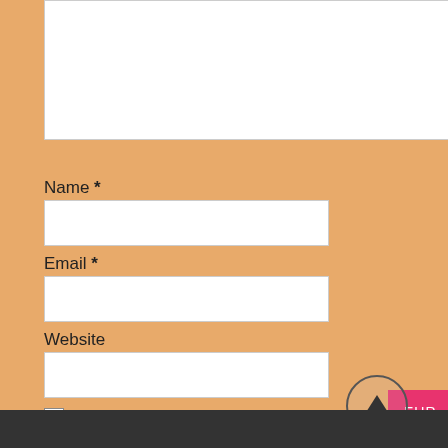[Figure (screenshot): Comment form fields: textarea at top (partially visible), then Name, Email, Website input fields, a checkbox with save browser label, and a Post Comment button. Pink EUR badge and plus-circle on right edge. Arrow circle near bottom right. Dark footer bar at bottom.]
Name *
Email *
Website
Save my name, email, and website in this browser for the next time I comment.
Post Comment
EUR